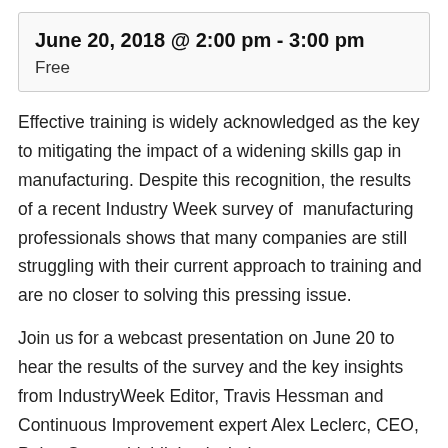June 20, 2018 @ 2:00 pm - 3:00 pm
Free
Effective training is widely acknowledged as the key to mitigating the impact of a widening skills gap in manufacturing. Despite this recognition, the results of a recent Industry Week survey of manufacturing professionals shows that many companies are still struggling with their current approach to training and are no closer to solving this pressing issue.
Join us for a webcast presentation on June 20 to hear the results of the survey and the key insights from IndustryWeek Editor, Travis Hessman and Continuous Improvement expert Alex Leclerc, CEO, Poka. Survey highlights include:
What is the most common method of training?